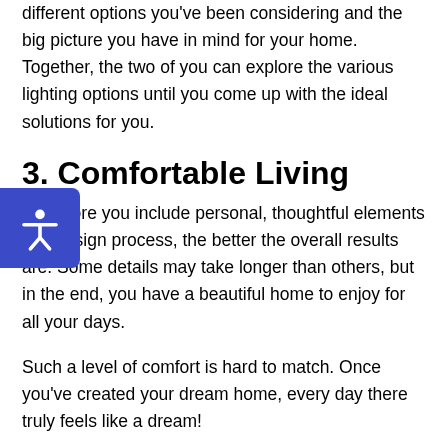different options you've been considering and the big picture you have in mind for your home. Together, the two of you can explore the various lighting options until you come up with the ideal solutions for you.
3. Comfortable Living
The more you include personal, thoughtful elements into design process, the better the overall results are. Some details may take longer than others, but in the end, you have a beautiful home to enjoy for all your days.
Such a level of comfort is hard to match. Once you've created your dream home, every day there truly feels like a dream!
You'll never get tired of sitting in dim lights as the sun sets and you read a book, or of enjoying a nice cup of